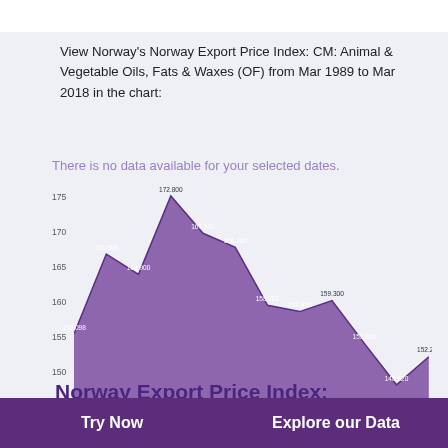View Norway's Norway Export Price Index: CM: Animal & Vegetable Oils, Fats & Waxes (OF) from Mar 1989 to Mar 2018 in the chart:
[Figure (area-chart): There is no data available for your selected dates.]
Norway Export Price Index: CM: CI: Crude Fertilizers &
Try Now    Explore our Data